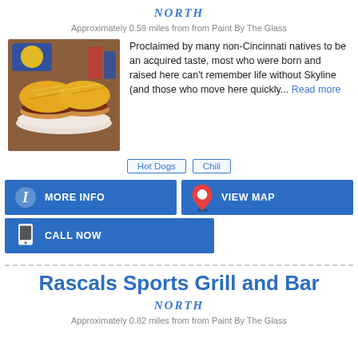NORTH
Approximately 0.59 miles from from Paint By The Glass
[Figure (photo): Photo of Skyline Chili food — chili coneys (hot dogs with chili and shredded cheddar cheese) on plates]
Proclaimed by many non-Cincinnati natives to be an acquired taste, most who were born and raised here can't remember life without Skyline (and those who move here quickly... Read more
Hot Dogs
Chili
MORE INFO
VIEW MAP
CALL NOW
Rascals Sports Grill and Bar
NORTH
Approximately 0.82 miles from from Paint By The Glass